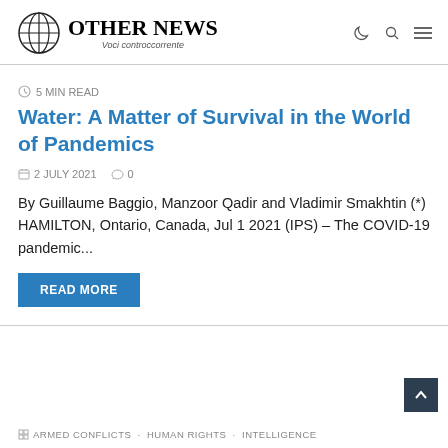OTHER NEWS Voci controccorrente
5 MIN READ
Water: A Matter of Survival in the World of Pandemics
2 JULY 2021   0
By Guillaume Baggio, Manzoor Qadir and Vladimir Smakhtin (*) HAMILTON, Ontario, Canada, Jul 1 2021 (IPS) – The COVID-19 pandemic...
READ MORE
ARMED CONFLICTS   HUMAN RIGHTS   INTELLIGENCE